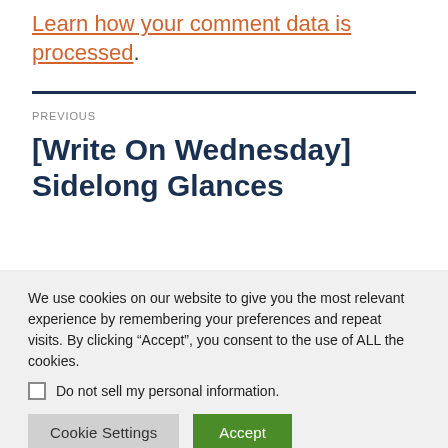Learn how your comment data is processed.
PREVIOUS
[Write On Wednesday] Sidelong Glances
We use cookies on our website to give you the most relevant experience by remembering your preferences and repeat visits. By clicking “Accept”, you consent to the use of ALL the cookies.
Do not sell my personal information.
Cookie Settings
Accept